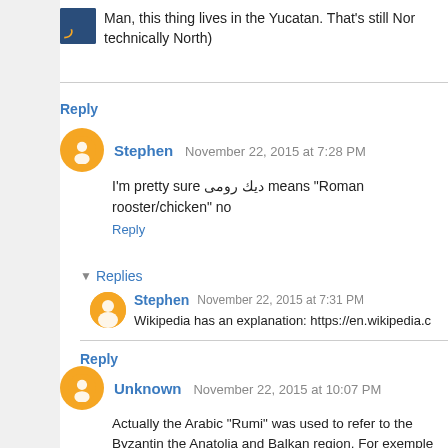Man, this thing lives in the Yucatan. That's still Nor... technically North)
Reply
Stephen  November 22, 2015 at 7:28 PM
I'm pretty sure دیك رومی means "Roman rooster/chicken" no...
Reply
Replies
Stephen  November 22, 2015 at 7:31 PM
Wikipedia has an explanation: https://en.wikipedia.c...
Reply
Unknown  November 22, 2015 at 10:07 PM
Actually the Arabic "Rumi" was used to refer to the Byzantin... the Anatolia and Balkan region. For exemple "Greek Orthodo...